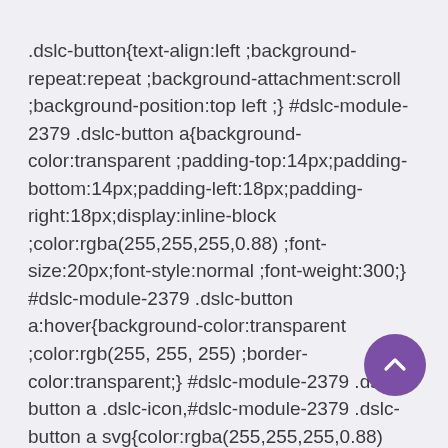.dslc-button{text-align:left ;background-repeat:repeat ;background-attachment:scroll ;background-position:top left ;} #dslc-module-2379 .dslc-button a{background-color:transparent ;padding-top:14px;padding-bottom:14px;padding-left:18px;padding-right:18px;display:inline-block ;color:rgba(255,255,255,0.88) ;font-size:20px;font-style:normal ;font-weight:300;} #dslc-module-2379 .dslc-button a:hover{background-color:transparent ;color:rgb(255, 255, 255) ;border-color:transparent;} #dslc-module-2379 .dslc-button a .dslc-icon,#dslc-module-2379 .dslc-button a svg{color:rgba(255,255,255,0.88) ;fill:rgba(255,255,255,0.88) ;margin-right:7px;} #dslc-module-2379 .dslc-button